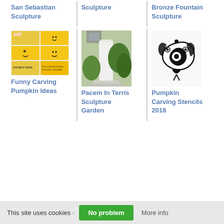San Sebastian Sculpture
Sculpture
Bronze Fountain Sculpture
[Figure (photo): Grid of pumpkin carving steps showing yellow pumpkins being carved into funny faces]
Funny Carving Pumpkin Ideas
[Figure (photo): White tall column sculpture in a garden setting with green trees in background]
Pacem In Terris Sculpture Garden
[Figure (illustration): Black silhouette logo of a stylized figure with circular elements, resembling a peacock or decorative emblem]
Pumpkin Carving Stencils 2018
This site uses cookies · No problem · More info